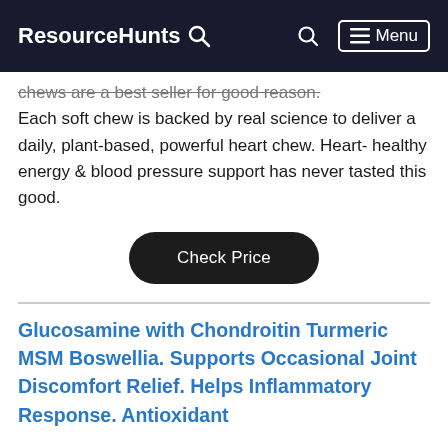ResourceHunts 🔍  🔍  Menu
chews are a best seller for good reason. Each soft chew is backed by real science to deliver a daily, plant-based, powerful heart chew. Heart- healthy energy & blood pressure support has never tasted this good.
Check Price
Glucosamine with Chondroitin Turmeric MSM Boswellia. Supports Occasional Joint Discomfort Relief. Helps Inflammatory Response. Antioxidant